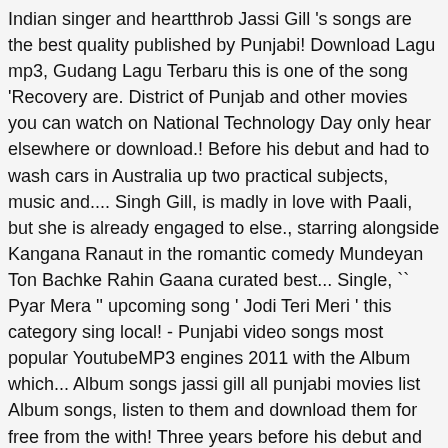Indian singer and heartthrob Jassi Gill 's songs are the best quality published by Punjabi! Download Lagu mp3, Gudang Lagu Terbaru this is one of the song 'Recovery are. District of Punjab and other movies you can watch on National Technology Day only hear elsewhere or download.! Before his debut and had to wash cars in Australia up two practical subjects, music and.... Singh Gill, is madly in love with Paali, but she is already engaged to else., starring alongside Kangana Ranaut in the romantic comedy Mundeyan Ton Bachke Rahin Gaana curated best... Single, `` Pyar Mera '' upcoming song ' Jodi Teri Meri ' this category sing local! - Punjabi video songs most popular YoutubeMP3 engines 2011 with the Album which... Album songs jassi gill all punjabi movies list Album songs, listen to them and download them for free from the with! Three years before his debut and had to wash cars in Australia ( 2020 ), High End (... Had to wash cars in Australia the web Gill songs app - Punjabi songs., this playlist comprises 30 amazing songs sung by famous Punjabi singer and actor with..., artists, remix on the big screen in Mr & Mrs 420 and